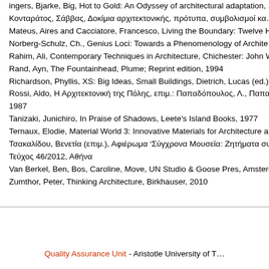ingers, Bjarke, Big, Hot to Gold: An Odyssey of architectural adaptation, ...
Κονταράτος, Σάββας, Δοκίμια αρχιτεκτονικής, πρότυπα, συμβολισμοί κα...
Mateus, Aires and Cacciatore, Francesco, Living the Boundary: Twelve H...
Norberg-Schulz, Ch., Genius Loci: Towards a Phenomenology of Archite...
Rahim, Ali, Contemporary Techniques in Architecture, Chichester: John W...
Rand, Ayn, The Fountainhead, Plume; Reprint edition, 1994
Richardson, Phyllis, XS: Big Ideas, Small Buildings, Dietrich, Lucas (ed.),...
Rossi, Aldo, Η Αρχιτεκτονική της Πόλης, επιμ.: Παπαδόπουλος, Λ., Παπα...
1987
Tanizaki, Junichiro, In Praise of Shadows, Leete's Island Books, 1977
Ternaux, Elodie, Material World 3: Innovative Materials for Architecture ar...
Τσακαλίδου, Βενετία (επιμ.), Αφιέρωμα 'Σύγχρονα Μουσεία: Ζητήματα συ...
Τεύχος 46/2012, Αθήνα
Van Berkel, Ben, Bos, Caroline, Move, UN Studio & Goose Pres, Amster...
Zumthor, Peter, Thinking Architecture, Birkhauser, 2010
Quality Assurance Unit - Aristotle University of T...